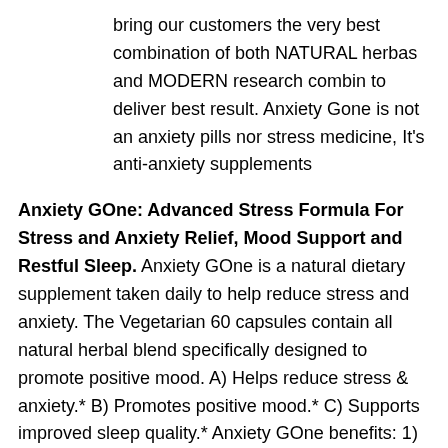bring our customers the very best combination of both NATURAL herbas and MODERN research combin to deliver best result. Anxiety Gone is not an anxiety pills nor stress medicine, It's anti-anxiety supplements
Anxiety GOne: Advanced Stress Formula For Stress and Anxiety Relief, Mood Support and Restful Sleep. Anxiety GOne is a natural dietary supplement taken daily to help reduce stress and anxiety. The Vegetarian 60 capsules contain all natural herbal blend specifically designed to promote positive mood. A) Helps reduce stress & anxiety.* B) Promotes positive mood.* C) Supports improved sleep quality.* Anxiety GOne benefits: 1) Anxiety GOne Natural Advanced Stress Formula helps to provide anxiety and stress relief quickly.* 2) 5-HTP naturally promotes positive mood. GABA acts quickly to calm the mind and assists in mood support.* 3) Anxiety GOne contains all natural ingredients and herbal